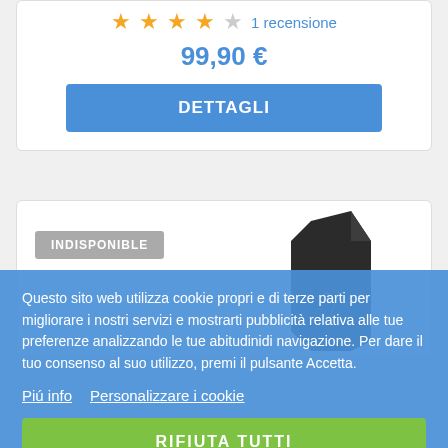★★★★☆  1 recensione
99,90 €
DETTAGLI
[Figure (photo): Product card with INDISPONIBILE badge and a dark angled speaker/device product image]
Questo sito web utilizza cookie propri e di terze parti per migliorare i nostri servizi e mostrarti pubblicità relativa alle tue preferenze analizzando le tue abitudinidi navigazione. Per dare il tuo consenso al suo utilizzo, premi il pulsante Accetta.
Piú info   Personalizzare i cookie
RIFIUTA TUTTI
ACCETTO